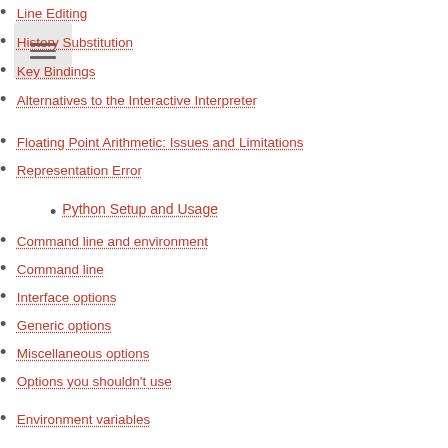Line Editing
History Substitution
Key Bindings
Alternatives to the Interactive Interpreter
Floating Point Arithmetic: Issues and Limitations
Representation Error
Python Setup and Usage
Command line and environment
Command line
Interface options
Generic options
Miscellaneous options
Options you shouldn't use
Environment variables